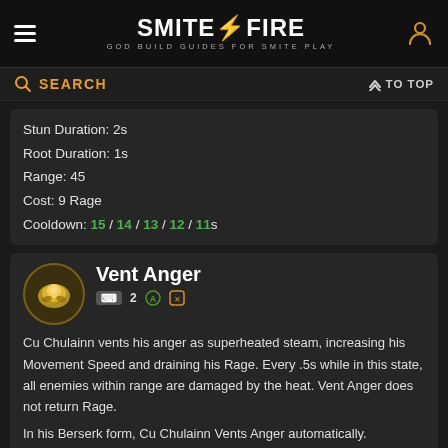SMITEFIRE — GOD BUILD GUIDES FOR SMITE PLAY
SEARCH    TO TOP
Stun Duration: 2s
Root Duration: 1s
Range: 45
Cost: 9 Rage
Cooldown: 15 / 14 / 13 / 12 / 11s
Vent Anger
Cu Chulainn vents his anger as superheated steam, increasing his Movement Speed and draining his Rage. Every .5s while in this state, all enemies within range are damaged by the heat. Vent Anger does not return Rage.

In his Berserk form, Cu Chulainn Vents Anger automatically.

Ability Type: Area
Damage Per Second: 10 / 15 / 20 / 25 / 30 (+5% of your Physical Power)
Movement Speed: 5%